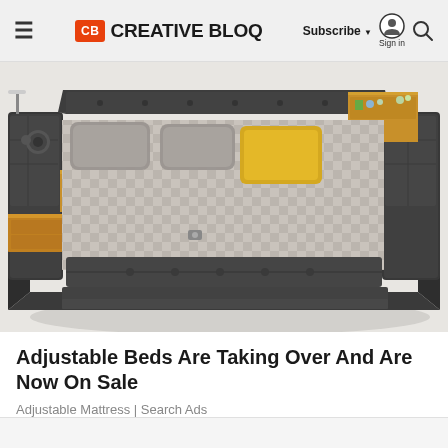CB CREATIVE BLOQ | Subscribe | Sign in
[Figure (photo): A large dark gray upholstered platform bed with built-in side storage drawers, wooden nightstand shelves, speakers, reading lamp, and checkered bedding with a yellow pillow. The bed has a multi-functional modular design.]
Adjustable Beds Are Taking Over And Are Now On Sale
Adjustable Mattress | Search Ads